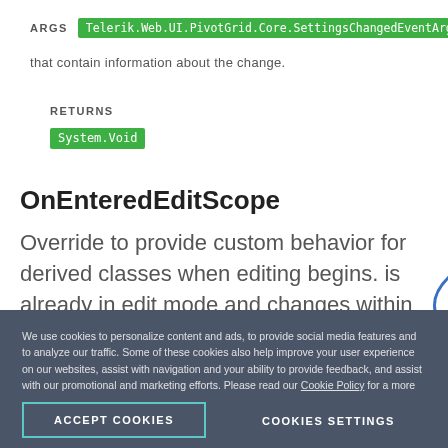ARGS Telerik.Web.UI.PivotGrid.Core.SettingsChangedEventArgs
that contain information about the change.
RETURNS
System.Void
OnEnteredEditScope
Override to provide custom behavior for derived classes when editing begins. is already in edit mode and changes within the method body will be
We use cookies to personalize content and ads, to provide social media features and to analyze our traffic. Some of these cookies also help improve your user experience on our websites, assist with navigation and your ability to provide feedback, and assist with our promotional and marketing efforts. Please read our Cookie Policy for a more detailed description and click on the settings button to customize how the site uses cookies for you.
ACCEPT COOKIES
COOKIES SETTINGS